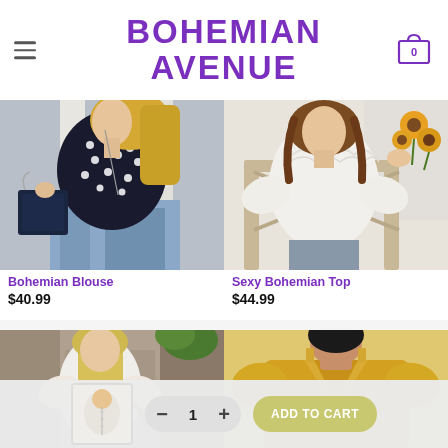BOHEMIAN AVENUE
[Figure (photo): Woman wearing black polka dot crop top corset with blue denim shorts, holding a blue Dior bag, outdoor setting with white columns]
Bohemian Blouse
$40.99
[Figure (photo): Woman in white ruffled long-sleeve blouse seated on a chair holding sunflowers, bright indoor setting]
Sexy Bohemian Top
$44.99
[Figure (photo): Blonde woman wearing white floral puff-sleeve blouse in a narrow European alley, wearing sunglasses]
[Figure (photo): Black woman wearing mustard yellow deep V-neck puff-sleeve tie-front blazer top, gold earrings]
[Figure (photo): Thumbnail of white button-up blouse product image]
ADD TO CART